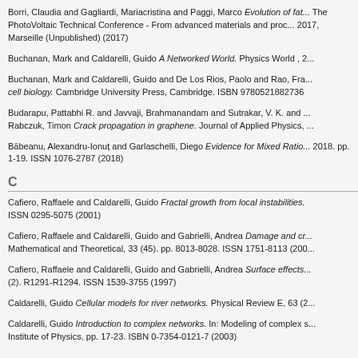Borri, Claudia and Gagliardi, Mariacristina and Paggi, Marco Evolution of fat... The PhotoVoltaic Technical Conference - From advanced materials and proc... 2017, Marseille (Unpublished) (2017)
Buchanan, Mark and Caldarelli, Guido A Networked World. Physics World , 2...
Buchanan, Mark and Caldarelli, Guido and De Los Rios, Paolo and Rao, Fra... cell biology. Cambridge University Press, Cambridge. ISBN 9780521882736
Budarapu, Pattabhi R. and Javvaji, Brahmanandam and Sutrakar, V. K. and ... Rabczuk, Timon Crack propagation in graphene. Journal of Applied Physics, ...
Bābeanu, Alexandru-Ionuț and Garlaschelli, Diego Evidence for Mixed Ratio... 2018. pp. 1-19. ISSN 1076-2787 (2018)
C
Cafiero, Raffaele and Caldarelli, Guido Fractal growth from local instabilities. ISSN 0295-5075 (2001)
Cafiero, Raffaele and Caldarelli, Guido and Gabrielli, Andrea Damage and cr... Mathematical and Theoretical, 33 (45). pp. 8013-8028. ISSN 1751-8113 (200...
Cafiero, Raffaele and Caldarelli, Guido and Gabrielli, Andrea Surface effects... (2). R1291-R1294. ISSN 1539-3755 (1997)
Caldarelli, Guido Cellular models for river networks. Physical Review E, 63 (2...
Caldarelli, Guido Introduction to complex networks. In: Modeling of complex s... Institute of Physics, pp. 17-23. ISBN 0-7354-0121-7 (2003)